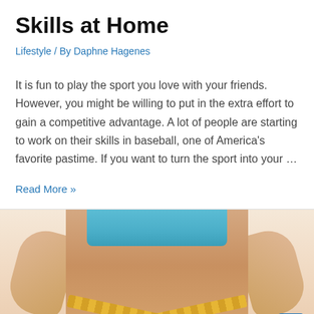Skills at Home
Lifestyle / By Daphne Hagenes
It is fun to play the sport you love with your friends. However, you might be willing to put in the extra effort to gain a competitive advantage. A lot of people are starting to work on their skills in baseball, one of America's favorite pastime. If you want to turn the sport into your …
Read More »
[Figure (photo): Photo of a woman's midsection wearing a light blue sports bra with a yellow measuring tape crossed around her waist, hands on hips, white background.]